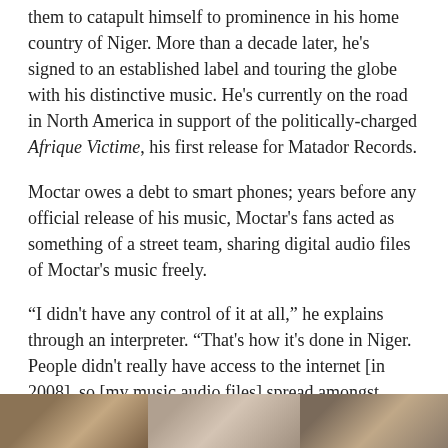them to catapult himself to prominence in his home country of Niger. More than a decade later, he's signed to an established label and touring the globe with his distinctive music. He's currently on the road in North America in support of the politically-charged Afrique Victime, his first release for Matador Records.
Moctar owes a debt to smart phones; years before any official release of his music, Moctar's fans acted as something of a street team, sharing digital audio files of Moctar's music freely.
“I didn't have any control of it at all,” he explains through an interpreter. “That's how it's done in Niger. People didn't really have access to the internet [in 2008], so [my music audio files] spread amongst people using cell phones.” The approach was a lower-tech equivalent of Napster. “If someone you don't even know is listening to music that you like, you can just walk up to them and say, 'Wow! I love it! Please send it to me.'” he says. “And they'll do it immediately.”
[Figure (photo): A horizontal strip of three partially visible photographs at the bottom of the page, showing what appear to be people or figures, cropped so only the lower portion is visible.]